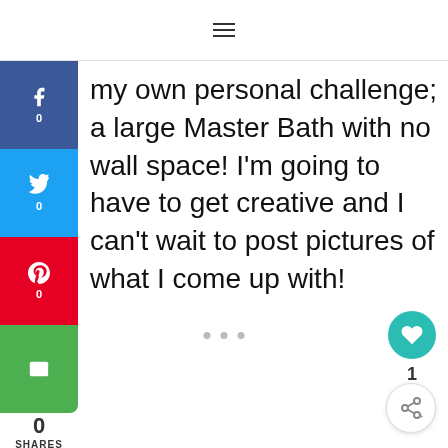☰
my own personal challenge; a large Master Bath with no wall space!  I'm going to have to get creative and I can't wait to post pictures of what I come up with!
[Figure (infographic): Social sharing sidebar with Facebook (0), Twitter (0), Pinterest (0), and Email buttons; total 0 SHARES]
[Figure (infographic): Floating like button with heart icon showing count of 1, and a share button below it]